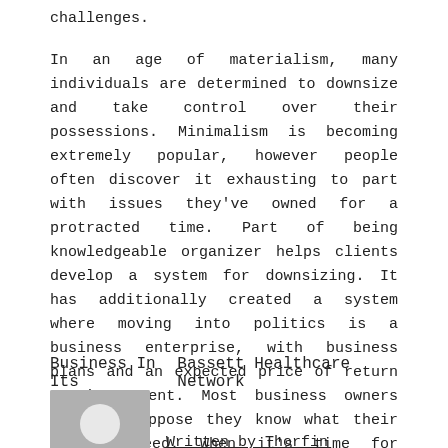challenges.
In an age of materialism, many individuals are determined to downsize and take control over their possessions. Minimalism is becoming extremely popular, however people often discover it exhausting to part with issues they've owned for a protracted time. Part of being knowledgeable organizer helps clients develop a system for downsizing. It has additionally created a system where moving into politics is a business enterprise, with business plans and an expected price of return on investment. Most business owners want to suppose they know what their clients need. When it's time for updates or replacements, workers just sign in to their new units to entry their apps, settings, and work data in iCloud.
Tag :   Business     Places
Business In Its
Bassett Healthcare Network
[Figure (photo): Author avatar placeholder image — grey square with a white circle silhouette representing a person]
Written by Thorfin